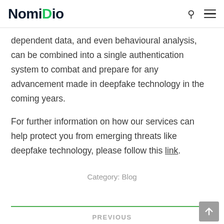NomiDio
dependent data, and even behavioural analysis, can be combined into a single authentication system to combat and prepare for any advancement made in deepfake technology in the coming years.
For further information on how our services can help protect you from emerging threats like deepfake technology, please follow this link.
Category: Blog
PREVIOUS